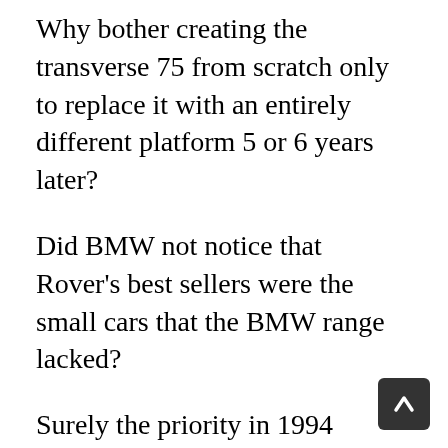Why bother creating the transverse 75 from scratch only to replace it with an entirely different platform 5 or 6 years later?
Did BMW not notice that Rover's best sellers were the small cars that the BMW range lacked?
Surely the priority in 1994 should have been the elimination of the Honda factor with a new platform with SWB and LWB variants for the Mini and 400 replacements? Perhaps then, with more coming in from competitive, desirable